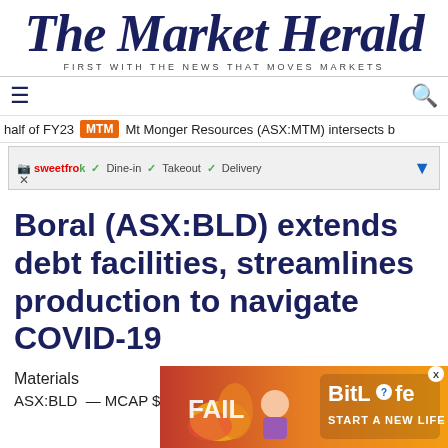The Market Herald — FIRST WITH THE NEWS THAT MOVES MARKETS
≡  🔍
half of FY23  MTM  Mt Monger Resources (ASX:MTM) intersects b
[Figure (screenshot): Advertisement banner with SweetFrog logo, showing dine-in, takeout, delivery options with checkmarks]
Boral (ASX:BLD) extends debt facilities, streamlines production to navigate COVID-19
Materials
ASX:BLD — MCAP $2.35B
[Figure (photo): Bottom advertisement: BitLife - Start a New Life game ad with fire background and cartoon character]